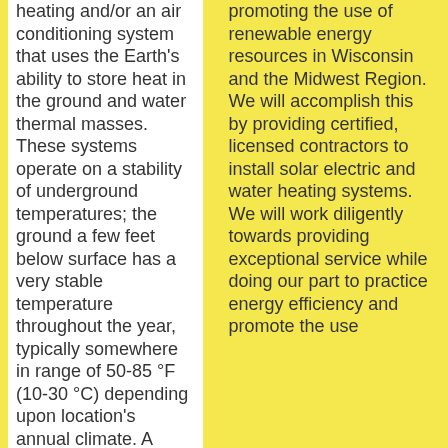heating and/or an air conditioning system that uses the Earth's ability to store heat in the ground and water thermal masses. These systems operate on a stability of underground temperatures; the ground a few feet below surface has a very stable temperature throughout the year, typically somewhere in range of 50-85 °F (10-30 °C) depending upon location's annual climate. A water-source heat pump uses that
promoting the use of renewable energy resources in Wisconsin and the Midwest Region. We will accomplish this by providing certified, licensed contractors to install solar electric and water heating systems. We will work diligently towards providing exceptional service while doing our part to practice energy efficiency and promote the use